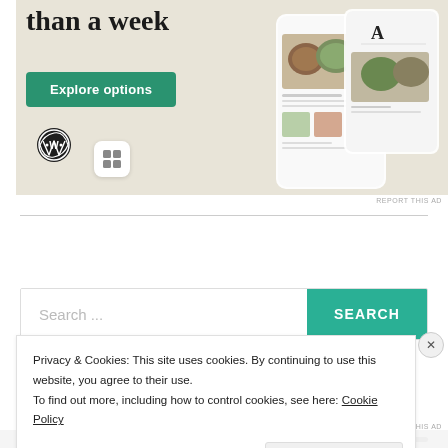[Figure (screenshot): WordPress advertisement banner with beige background, showing text 'than a week', a green 'Explore options' button, WordPress logo, a small app icon, and phone mockups showing a food/recipe website.]
REPORT THIS AD
[Figure (screenshot): Search bar with placeholder text 'Search ...' and a teal 'SEARCH' button on the right.]
Privacy & Cookies: This site uses cookies. By continuing to use this website, you agree to their use.
To find out more, including how to control cookies, see here: Cookie Policy
Close and accept
REPORT THIS AD